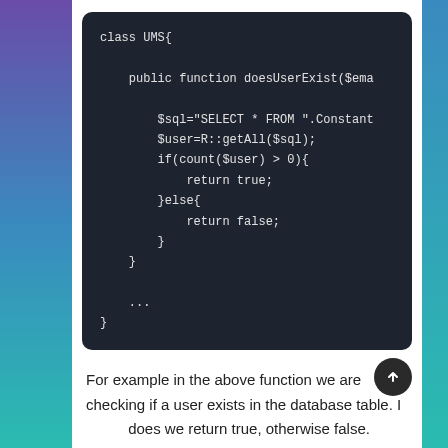[Figure (screenshot): Dark-themed code block showing PHP class UMS with doesUserExist function containing SQL query, getAll call, and if/else returning true or false]
For example in the above function we are checking if a user exists in the database table. If does we return true, otherwise false.